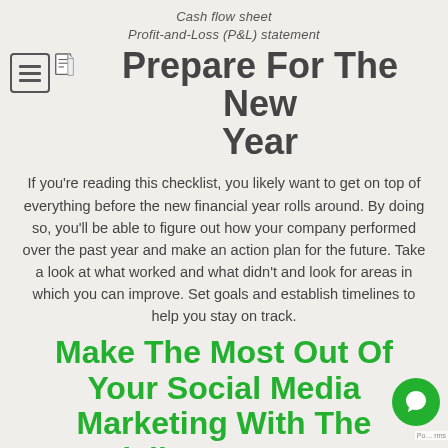Cash flow sheet
Profit-and-Loss (P&L) statement
Prepare For The New Year
If you're reading this checklist, you likely want to get on top of everything before the new financial year rolls around. By doing so, you'll be able to figure out how your company performed over the past year and make an action plan for the future. Take a look at what worked and what didn't and look for areas in which you can improve. Set goals and establish timelines to help you stay on track.
Make The Most Out Of Your Social Media Marketing With The Specialists At Get More Traffic